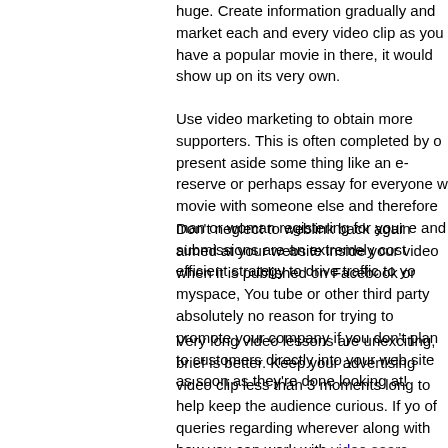huge. Create information gradually and market each and every video clip as you have a popular movie in there, it would show up on its very own.
Use video marketing to obtain more supporters. This is often completed by present aside some thing like an e-reserve or perhaps essay for everyone w movie with someone else and therefore man or woman registering for your e and submissions are an extremely cost efficient strategy to drive traffic to yo
Don't neglect to weblink back again aimed at your website inside your video when it is published on Facebook or myspace, You tube or other third party absolutely no reason for trying to promote your company if you don't plan to customers directly into your web site as soon as they're done looking at!
Very long video lessons are unexciting, brief is better. Keep your advertising video clip less than 3 moments long to help keep the audience curious. If yo of queries regarding wherever along with how you can work with video search optimization, you possibly can email us on the web site. In some scenarios, go to a few minutes, but over that will surely be ineffective. Make sure to ma sweet.
To improve your marketing with video, make sure that you regularly appraise performance of your respective video lessons. It is quite easy to acquire be discussion charges, average level of the recording that is certainly enjoyed, internet site sessions and related product sales. By calculating the effectiven marketing video tutorials, you will be able to understand exactly what does a to job.
Podcasting is undoubtedly an underused form of online video marketing. It m to charge a nominal expense for some finest techniques video corrupted t